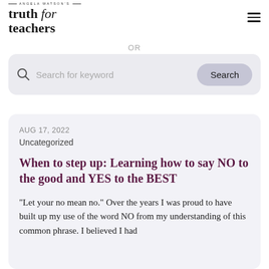[Figure (logo): Angela Watson's Truth for Teachers logo with tagline and hamburger menu]
Browse by category →
OR
[Figure (screenshot): Search bar with magnifying glass icon, placeholder text 'Search for keyword', and a 'Search' button]
AUG 17, 2022
Uncategorized
When to step up: Learning how to say NO to the good and YES to the BEST
“Let your no mean no.” Over the years I was proud to have built up my use of the word NO from my understanding of this common phrase. I believed I had